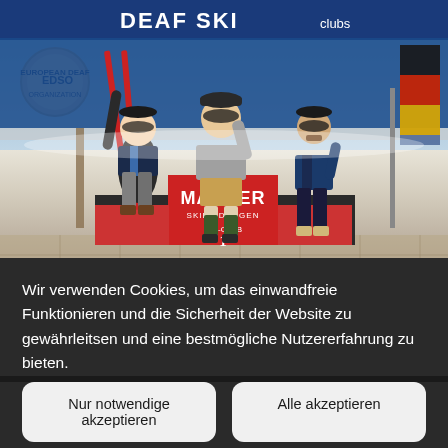[Figure (photo): Three men standing on a ski race podium with a MARKER SKIBINDUNGEN branded stand. The man in the middle (1st place) holds red skis aloft. They are standing outdoors at a ski event in front of a blue banner reading DEAF SKI... with a European Deaf Organization logo visible. A German flag is partially visible on the right.]
Wir verwenden Cookies, um das einwandfreie Funktionieren und die Sicherheit der Website zu gewährleitsen und eine bestmögliche Nutzererfahrung zu bieten.
Nur notwendige akzeptieren
Alle akzeptieren